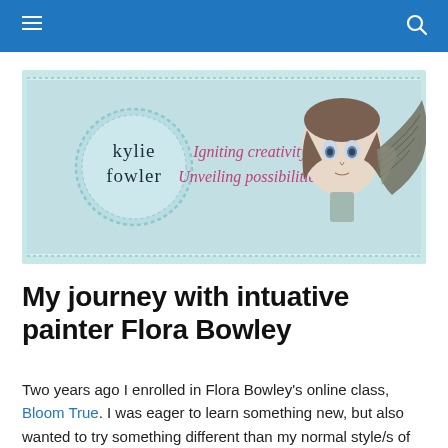[Figure (illustration): Kylie Fowler website banner with light blue background, decorative dashed border, circular logo reading 'kylie fowler', text 'Igniting creativity. Unveiling possibilities.' in pink script, and an illustration of a girl with wings on the right side.]
My journey with intuative painter Flora Bowley
Two years ago I enrolled in Flora Bowley's online class, Bloom True. I was eager to learn something new, but also wanted to try something different than my normal style/s of artwork.